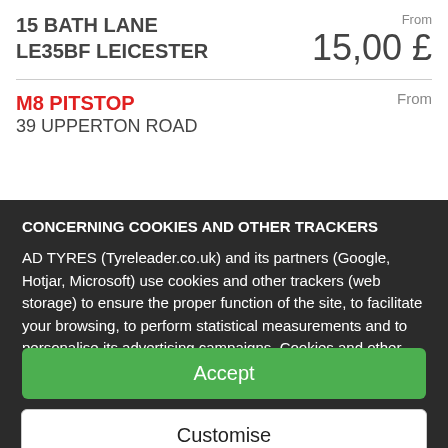15 BATH LANE
LE35BF LEICESTER
From
15,00 £
M8 PITSTOP
39 UPPERTON ROAD
From
CONCERNING COOKIES AND OTHER TRACKERS
AD TYRES (Tyreleader.co.uk) and its partners (Google, Hotjar, Microsoft) use cookies and other trackers (web storage) to ensure the proper function of the site, to facilitate your browsing, to perform statistical measurements and to personalise its advertising campaigns. Cookies and other trackers stored on your device may contain personal data. Furthermore, we do not deposit any cookies or other trackers without your voluntary and
Accept
Customise